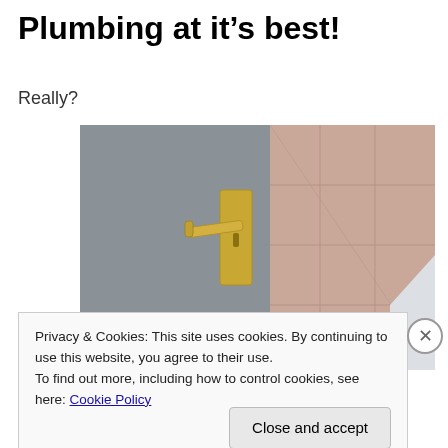Plumbing at it’s best!
Really?
[Figure (photo): A gold/brass door handle mounted on a grey door, with pink bathroom tiles visible in the background on the right side.]
Privacy & Cookies: This site uses cookies. By continuing to use this website, you agree to their use.
To find out more, including how to control cookies, see here: Cookie Policy
Close and accept